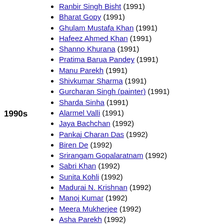1990s
Ranbir Singh Bisht (1991)
Bharat Gopy (1991)
Ghulam Mustafa Khan (1991)
Hafeez Ahmed Khan (1991)
Shanno Khurana (1991)
Pratima Barua Pandey (1991)
Manu Parekh (1991)
Shivkumar Sharma (1991)
Gurcharan Singh (painter) (1991)
Sharda Sinha (1991)
Alarmel Valli (1991)
Jaya Bachchan (1992)
Pankaj Charan Das (1992)
Biren De (1992)
Srirangam Gopalaratnam (1992)
Sabri Khan (1992)
Sunita Kohli (1992)
Madurai N. Krishnan (1992)
Manoj Kumar (1992)
Meera Mukherjee (1992)
Asha Parekh (1992)
Nataraja Ramakrishna (1992)
Bhagaban Sahu (1992)
Anandji Virji Shah (1992)
Kalyanji Virji Shah (1992)